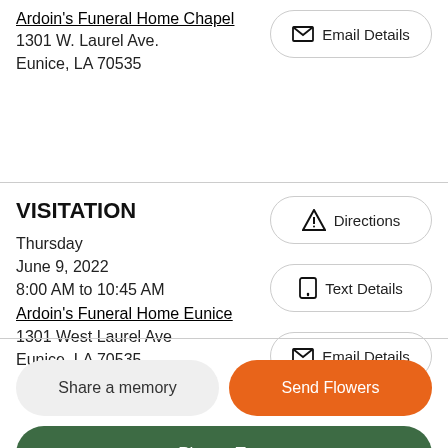Ardoin's Funeral Home Chapel
1301 W. Laurel Ave.
Eunice, LA 70535
Email Details
VISITATION
Thursday
June 9, 2022
8:00 AM to 10:45 AM
Ardoin's Funeral Home Eunice
1301 West Laurel Ave
Eunice, LA 70535
Directions
Text Details
Email Details
Share a memory
Send Flowers
Plant a Tree